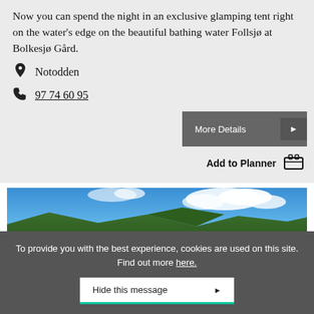Now you can spend the night in an exclusive glamping tent right on the water's edge on the beautiful bathing water Follsjø at Bolkesjø Gård.
Notodden
97 74 60 95
More Details ▶
Add to Planner
[Figure (photo): Landscape photo showing blue sky with white clouds over green mountains]
To provide you with the best experience, cookies are used on this site. Find out more here.
Hide this message ▶